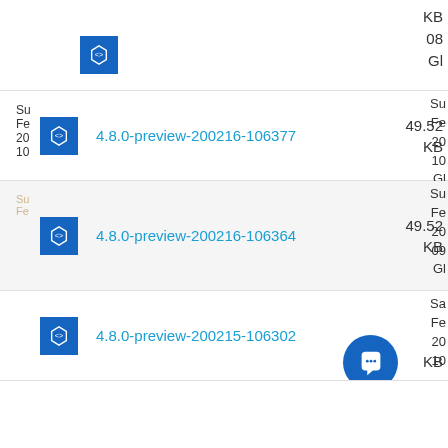KB  08  GI
4.8.0-preview-200216-106377  49.52 KB  Su Fe 20 10 GI
4.8.0-preview-200216-106364  49.52 KB  Su Fe 20 09 GI
4.8.0-preview-200215-106302  KB  Sa Fe 20 10